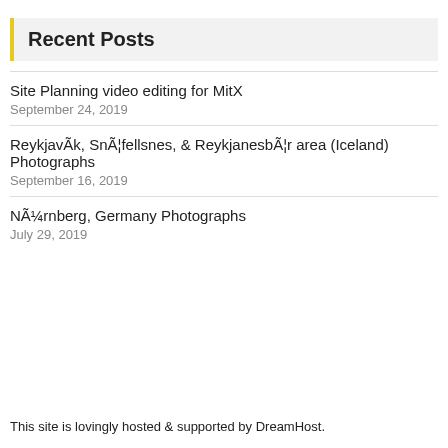Recent Posts
Site Planning video editing for MitX
September 24, 2019
ReykjavÃk, SnÃ¦fellsnes, & ReykjanesbÃ¦r area (Iceland) Photographs
September 16, 2019
NÃ¼rnberg, Germany Photographs
July 29, 2019
This site is lovingly hosted & supported by DreamHost.